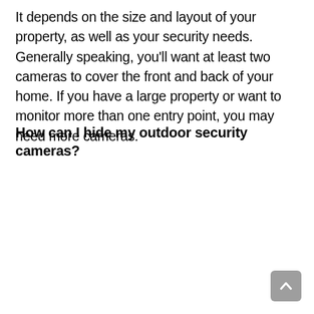It depends on the size and layout of your property, as well as your security needs. Generally speaking, you'll want at least two cameras to cover the front and back of your home. If you have a large property or want to monitor more than one entry point, you may need more cameras.
How can I hide my outdoor security cameras?